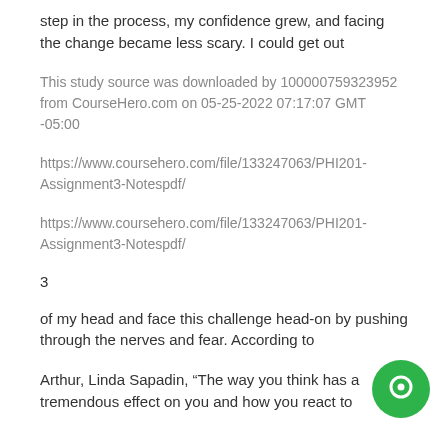step in the process, my confidence grew, and facing the change became less scary. I could get out
This study source was downloaded by 100000759323952 from CourseHero.com on 05-25-2022 07:17:07 GMT -05:00
https://www.coursehero.com/file/133247063/PHI201-Assignment3-Notespdf/
https://www.coursehero.com/file/133247063/PHI201-Assignment3-Notespdf/
3
of my head and face this challenge head-on by pushing through the nerves and fear. According to
Arthur, Linda Sapadin, “The way you think has a tremendous effect on you and how you react to